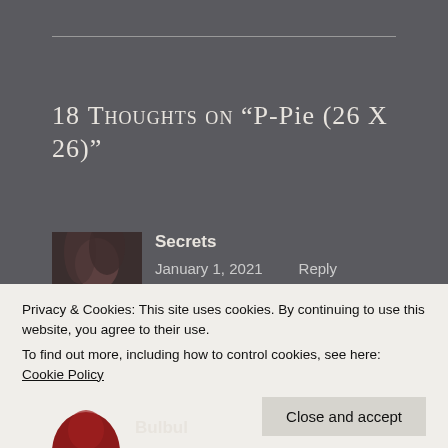18 THOUGHTS ON “P-PIE (26 X 26)”
[Figure (photo): User avatar photo showing dark hair against light background]
Secrets
January 1, 2021    Reply
🌟🌟🌟
Privacy & Cookies: This site uses cookies. By continuing to use this website, you agree to their use.
To find out more, including how to control cookies, see here: Cookie Policy
Close and accept
Bulbul